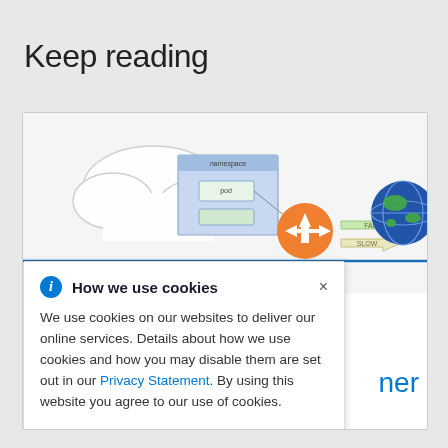Keep reading
[Figure (screenshot): Screenshot of a network/cloud diagram showing namespace, pod, and routing components with an orange load balancer icon, FAST/SLOW arrows, and a globe icon.]
How we use cookies
We use cookies on our websites to deliver our online services. Details about how we use cookies and how you may disable them are set out in our Privacy Statement. By using this website you agree to our use of cookies.